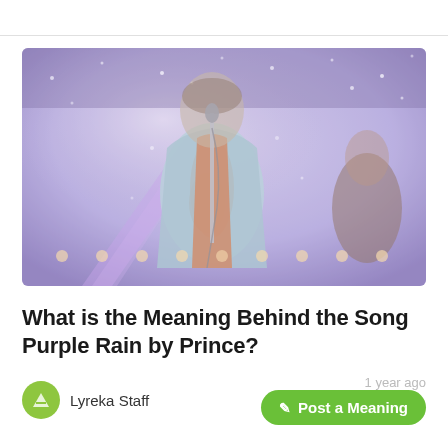[Figure (photo): Concert photo of a performer in a light blue suit singing into a microphone on a stage with purple/blue lighting, sparkles, and another musician visible on the right side of the frame.]
What is the Meaning Behind the Song Purple Rain by Prince?
Lyreka Staff
1 year ago
✎ Post a Meaning